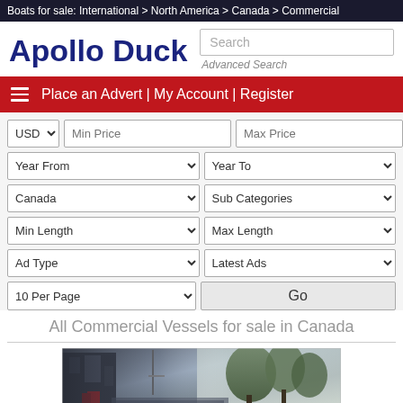Boats for sale: International > North America > Canada > Commercial
Apollo Duck
Search
Advanced Search
Place an Advert | My Account | Register
USD  Min Price  Max Price
Year From  Year To
Canada  Sub Categories
Min Length  Max Length
Ad Type  Latest Ads
10 Per Page  Go
All Commercial Vessels for sale in Canada
[Figure (photo): Photograph of a commercial vessel/boat for sale, partially visible, showing boat structure with trees in background]